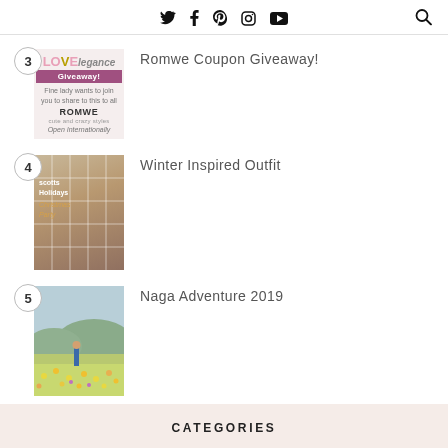Twitter Facebook Pinterest Instagram YouTube [search]
3 - Romwe Coupon Giveaway!
4 - Winter Inspired Outfit
5 - Naga Adventure 2019
CATEGORIES